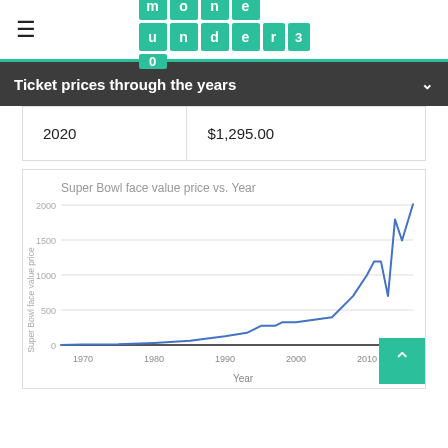money under 30 (logo)
Ticket prices through the years
| 2020 | $1,295.00 |
[Figure (line-chart): Line chart showing Super Bowl face value ticket price from ~1967 to ~2016, rising steeply in recent years to ~$2000]